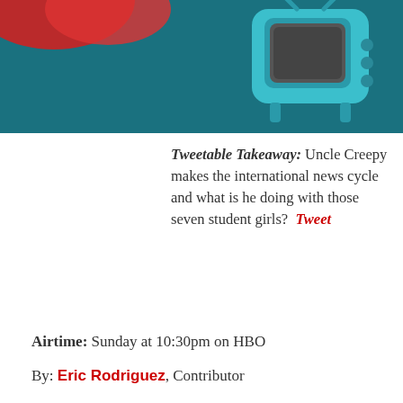[Figure (illustration): Teal/dark teal banner with cartoon TV illustration and partial red curved shapes on dark teal background]
Tweetable Takeaway: Uncle Creepy makes the international news cycle and what is he doing with those seven student girls? Tweet
Airtime: Sunday at 10:30pm on HBO
By: Eric Rodriguez, Contributor